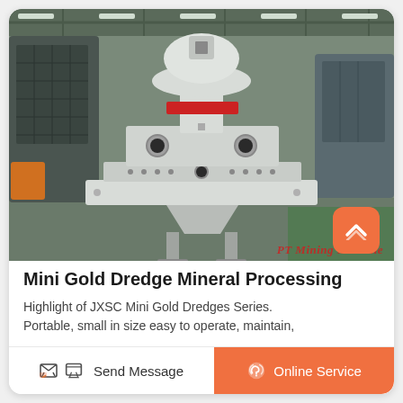[Figure (photo): Industrial mining/crushing machine (white and red cone crusher or VSI sand making machine) on a factory floor with green painted ground, photographed indoors with high ceiling structure visible. Watermark 'PT Mining Machine' in red italic text at bottom right.]
Mini Gold Dredge Mineral Processing
Highlight of JXSC Mini Gold Dredges Series. Portable, small in size easy to operate, maintain,